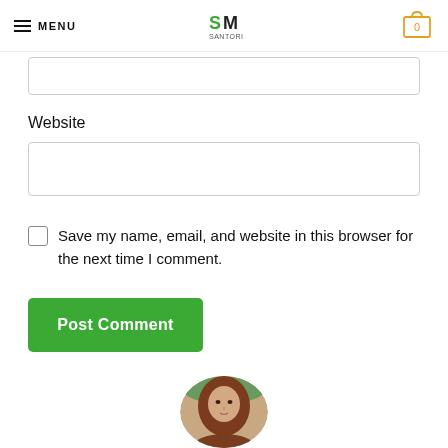MENU | SM Logo | Cart (0)
Website
Save my name, email, and website in this browser for the next time I comment.
Post Comment
[Figure (photo): Circular avatar photo of a woman with long brown hair, outdoors background]